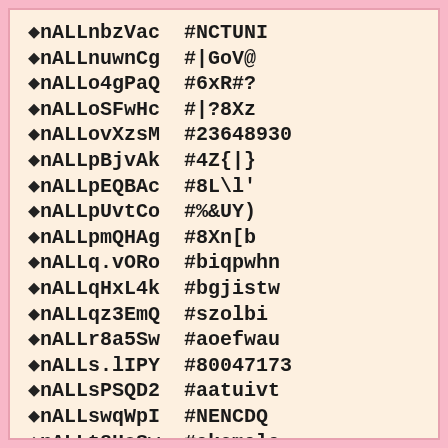◆nALLnbzVac  #NCTUNI
◆nALLnuwnCg  #|GoV@
◆nALLo4gPaQ  #6xR#?
◆nALLoSFwHc  #|?8Xz
◆nALLovXzsM  #23648930
◆nALLpBjvAk  #4Z{|}
◆nALLpEQBAc  #8L\l'
◆nALLpUvtCo  #%&UY)
◆nALLpmQHAg  #8Xn[b
◆nALLq.vORo  #biqpwhn
◆nALLqHxL4k  #bgjistw
◆nALLqz3EmQ  #szolbi
◆nALLr8a5Sw  #aoefwau
◆nALLs.lIPY  #80047173
◆nALLsPSQD2  #aatuivt
◆nALLswqWpI  #NENCDQ
◆nALLt8HoSw  #akemala
◆nALLtKHRrc  #bidsoce
◆nALLtiCVPA  #{YAnL